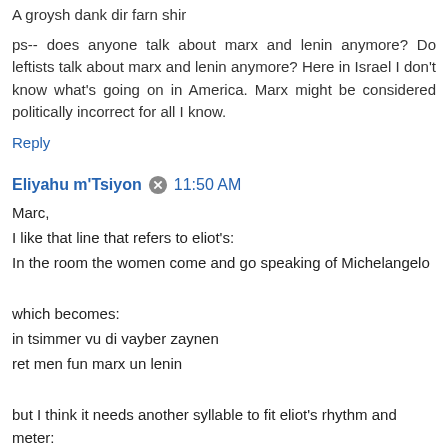A groysh dank dir farn shir
ps-- does anyone talk about marx and lenin anymore? Do leftists talk about marx and lenin anymore? Here in Israel I don't know what's going on in America. Marx might be considered politically incorrect for all I know.
Reply
Eliyahu m'Tsiyon  11:50 AM
Marc,
I like that line that refers to eliot's:
In the room the women come and go speaking of Michelangelo

which becomes:
in tsimmer vu di vayber zaynen
ret men fun marx un lenin

but I think it needs another syllable to fit eliot's rhythm and meter:
in tsimmer vu di vayber zaynen